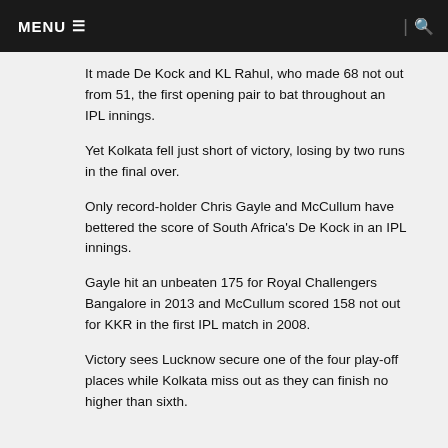MENU ☰ | 🔍
It made De Kock and KL Rahul, who made 68 not out from 51, the first opening pair to bat throughout an IPL innings.
Yet Kolkata fell just short of victory, losing by two runs in the final over.
Only record-holder Chris Gayle and McCullum have bettered the score of South Africa's De Kock in an IPL innings.
Gayle hit an unbeaten 175 for Royal Challengers Bangalore in 2013 and McCullum scored 158 not out for KKR in the first IPL match in 2008.
Victory sees Lucknow secure one of the four play-off places while Kolkata miss out as they can finish no higher than sixth.